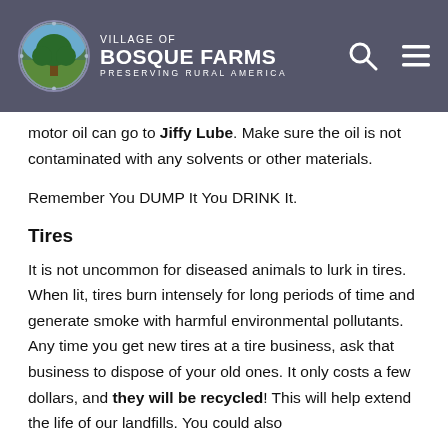Village of Bosque Farms — Preserving Rural America
motor oil can go to Jiffy Lube. Make sure the oil is not contaminated with any solvents or other materials.
Remember You DUMP It You DRINK It.
Tires
It is not uncommon for diseased animals to lurk in tires. When lit, tires burn intensely for long periods of time and generate smoke with harmful environmental pollutants. Any time you get new tires at a tire business, ask that business to dispose of your old ones. It only costs a few dollars, and they will be recycled! This will help extend the life of our landfills. You could also